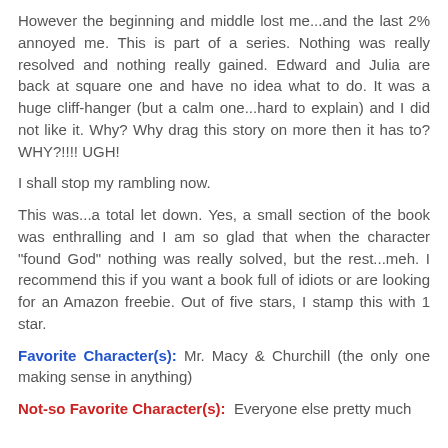However the beginning and middle lost me...and the last 2% annoyed me. This is part of a series. Nothing was really resolved and nothing really gained. Edward and Julia are back at square one and have no idea what to do. It was a huge cliff-hanger (but a calm one...hard to explain) and I did not like it. Why? Why drag this story on more then it has to? WHY?!!!! UGH!
I shall stop my rambling now.
This was...a total let down. Yes, a small section of the book was enthralling and I am so glad that when the character "found God" nothing was really solved, but the rest...meh. I recommend this if you want a book full of idiots or are looking for an Amazon freebie. Out of five stars, I stamp this with 1 star.
Favorite Character(s): Mr. Macy & Churchill (the only one making sense in anything)
Not-so Favorite Character(s): Everyone else pretty much